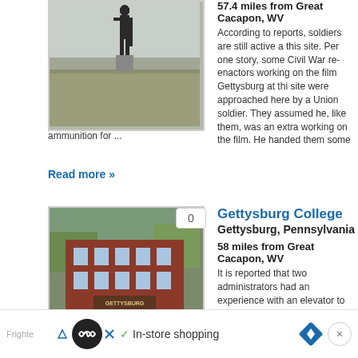[Figure (photo): Statue of a Civil War soldier overlooking a misty battlefield at Gettysburg]
57.4 miles from Great Cacapon, WV
According to reports, soldiers are still active at this site. Per one story, some Civil War re-enactors working on the film Gettysburg at this site were approached here by a Union soldier. They assumed he, like them, was an extra working on the film. He handed them some ammunition for ...
Read more »
[Figure (photo): Gettysburg College brick building with stone sign reading GETTYSBURG COLLEGE]
Gettysburg College
Gettysburg, Pennsylvania
58 miles from Great Cacapon, WV
It is reported that two administrators had an experience with an elevator to another dimension. Instead of stopping at their desired floor, the elevator continued to the basement. When the door opened, they saw a thriving hospital scene, only without sound.
In-store shopping